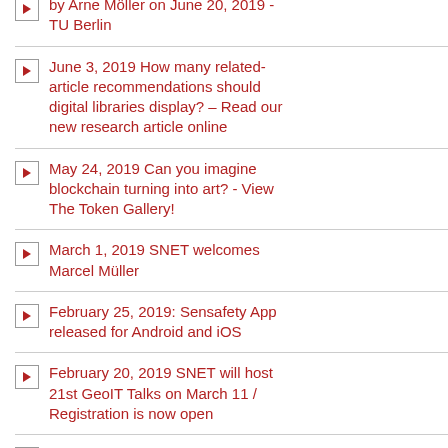by Arne Möller on June 20, 2019 - TU Berlin
June 3, 2019 How many related-article recommendations should digital libraries display? – Read our new research article online
May 24, 2019 Can you imagine blockchain turning into art? - View The Token Gallery!
March 1, 2019 SNET welcomes Marcel Müller
February 25, 2019: Sensafety App released for Android and iOS
February 20, 2019 SNET will host 21st GeoIT Talks on March 11 / Registration is now open
February 18, 2019 LNdW - June 2019 - Save the Date!
February 6, 2019 7 Papers at a time accepted - great start in scientific 2019
February 4, 2019 Guest Lecture by Jonathan Greve (hev.car) and